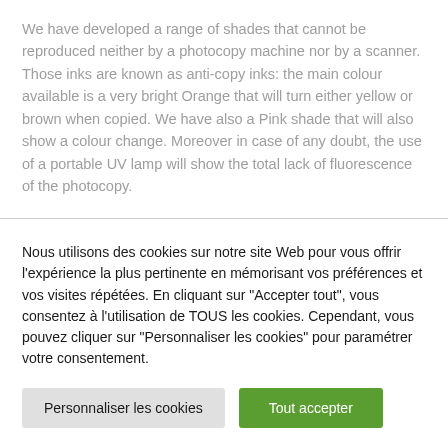We have developed a range of shades that cannot be reproduced neither by a photocopy machine nor by a scanner. Those inks are known as anti-copy inks: the main colour available is a very bright Orange that will turn either yellow or brown when copied. We have also a Pink shade that will also show a colour change. Moreover in case of any doubt, the use of a portable UV lamp will show the total lack of fluorescence of the photocopy.
Nous utilisons des cookies sur notre site Web pour vous offrir l'expérience la plus pertinente en mémorisant vos préférences et vos visites répétées. En cliquant sur "Accepter tout", vous consentez à l'utilisation de TOUS les cookies. Cependant, vous pouvez cliquer sur "Personnaliser les cookies" pour paramétrer votre consentement.
Personnaliser les cookies | Tout accepter